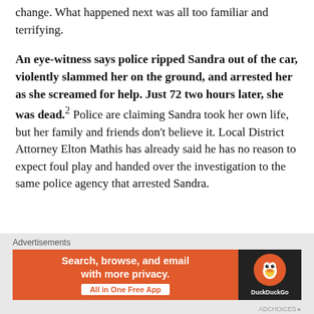change. What happened next was all too familiar and terrifying.
An eye-witness says police ripped Sandra out of the car, violently slammed her on the ground, and arrested her as she screamed for help. Just 72 two hours later, she was dead.² Police are claiming Sandra took her own life, but her family and friends don't believe it. Local District Attorney Elton Mathis has already said he has no reason to expect foul play and handed over the investigation to the same police agency that arrested Sandra.
Advertisements
[Figure (other): DuckDuckGo advertisement banner: orange section with text 'Search, browse, and email with more privacy. All in One Free App', and dark section with DuckDuckGo duck logo.]